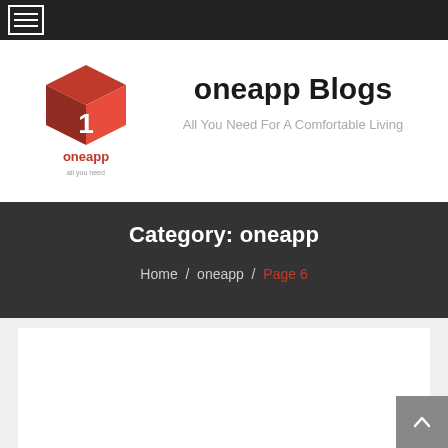Navigation menu bar
[Figure (logo): oneapp logo: red 3D cube with number 1, red text 'oneapp' below]
oneapp Blogs
All You Need For A Comfortable Living
Category: oneapp
Home / oneapp / Page 6